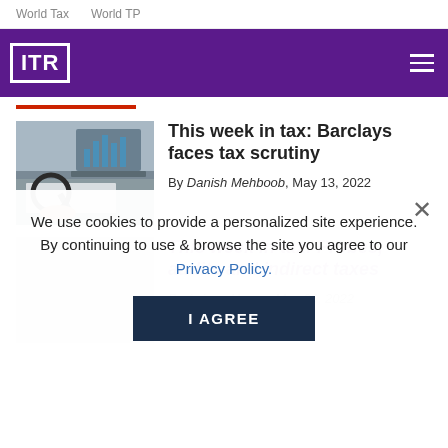World Tax   World TP
[Figure (logo): ITR logo in white on purple banner with hamburger menu icon]
[Figure (photo): Person holding magnifying glass over documents with laptop in background]
This week in tax: Barclays faces tax scrutiny
By Danish Mehboob, May 13, 2022
We use cookies to provide a personalized site experience. By continuing to use & browse the site you agree to our Privacy Policy.
[Figure (photo): Faded/greyed second article thumbnail image]
This week in tax: Probes, audits and indirect taxes
By Anjana Hones, May 06, 2022